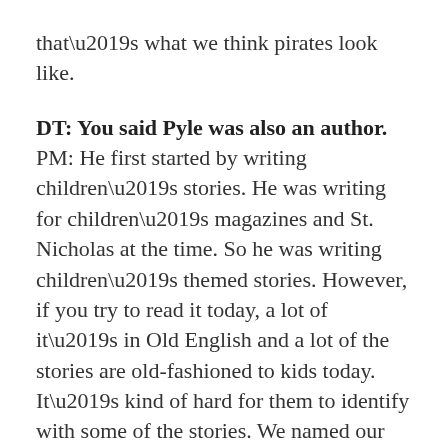that’s what we think pirates look like.
DT: You said Pyle was also an author. PM: He first started by writing children’s stories. He was writing for children’s magazines and St. Nicholas at the time. So he was writing children’s themed stories. However, if you try to read it today, a lot of it’s in Old English and a lot of the stories are old-fashioned to kids today. It’s kind of hard for them to identify with some of the stories. We named our company Silver Hand Productions after a book of Howard Pyle’s. It’s called “Otto of the Silver Hand.” It’s a great story. If you have a chance, you should read it. It’s an example of Howard Pyle’s writing style and how he